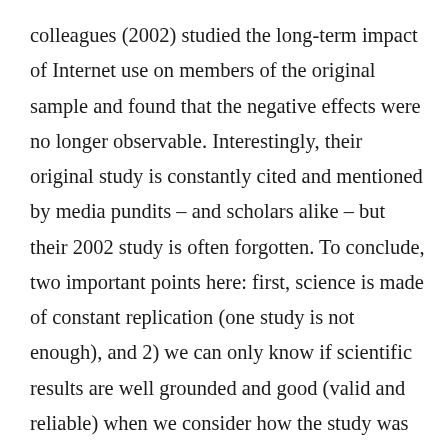colleagues (2002) studied the long-term impact of Internet use on members of the original sample and found that the negative effects were no longer observable. Interestingly, their original study is constantly cited and mentioned by media pundits – and scholars alike – but their 2002 study is often forgotten. To conclude, two important points here: first, science is made of constant replication (one study is not enough), and 2) we can only know if scientific results are well grounded and good (valid and reliable) when we consider how the study was done (methodology), including how the participants were selected (sampling), how the data was collected, and what tools were used to analyze that data. The “scientific halo effect” is also cleverly used to enhance cherry picking